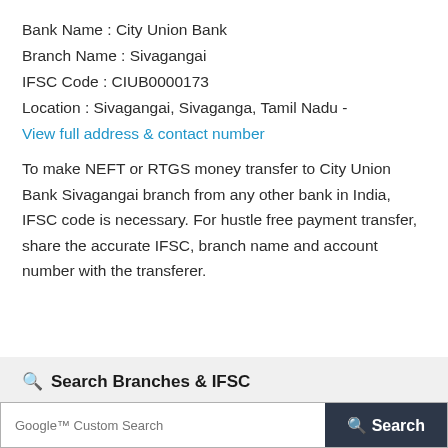Bank Name : City Union Bank
Branch Name : Sivagangai
IFSC Code : CIUB0000173
Location : Sivagangai, Sivaganga, Tamil Nadu -
View full address & contact number
To make NEFT or RTGS money transfer to City Union Bank Sivagangai branch from any other bank in India, IFSC code is necessary. For hustle free payment transfer, share the accurate IFSC, branch name and account number with the transferer.
Search Branches & IFSC